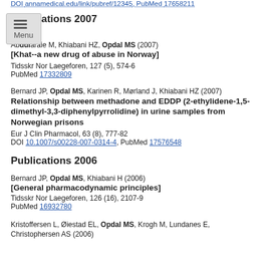DOI [link], PubMed [link]
Publications 2007
Abdularaie M, Khiabani HZ, Opdal MS (2007)
[Khat--a new drug of abuse in Norway]
Tidsskr Nor Laegeforen, 127 (5), 574-6
PubMed 17332809
Bernard JP, Opdal MS, Karinen R, Mørland J, Khiabani HZ (2007)
Relationship between methadone and EDDP (2-ethylidene-1,5-dimethyl-3,3-diphenylpyrrolidine) in urine samples from Norwegian prisons
Eur J Clin Pharmacol, 63 (8), 777-82
DOI 10.1007/s00228-007-0314-4, PubMed 17576548
Publications 2006
Bernard JP, Opdal MS, Khiabani H (2006)
[General pharmacodynamic principles]
Tidsskr Nor Laegeforen, 126 (16), 2107-9
PubMed 16932780
Kristoffersen L, Øiestad EL, Opdal MS, Krogh M, Lundanes E, Christophersen AS (2006)